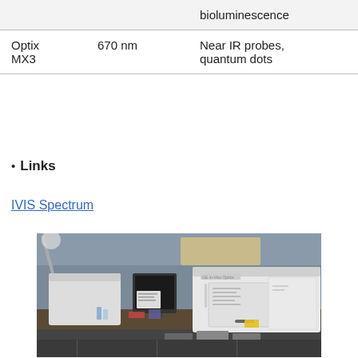|  |  |  |
| --- | --- | --- |
|  |  | bioluminescence |
| Optix MX3 | 670 nm | Near IR probes, quantum dots |
Links
IVIS Spectrum
[Figure (photo): Laboratory photo showing scientific imaging equipment including a large white GE scanner/imager on the right and other lab instruments on a workbench]